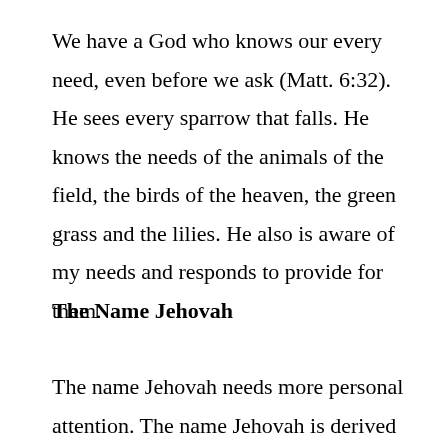We have a God who knows our every need, even before we ask (Matt. 6:32). He sees every sparrow that falls. He knows the needs of the animals of the field, the birds of the heaven, the green grass and the lilies. He also is aware of my needs and responds to provide for them.
The Name Jehovah
The name Jehovah needs more personal attention. The name Jehovah is derived from